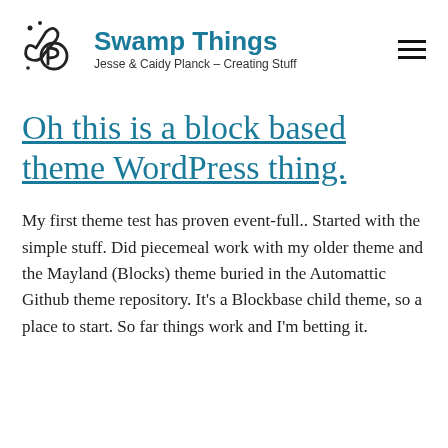[Figure (logo): Swamp Things blog logo: stylized letter P with dots and horn/trumpet shape, in dark color]
Swamp Things
Jesse & Caidy Planck – Creating Stuff
Oh this is a block based theme WordPress thing.
My first theme test has proven event-full.. Started with the simple stuff. Did piecemeal work with my older theme and the Mayland (Blocks) theme buried in the Automattic Github theme repository. It's a Blockbase child theme, so a place to start. So far things work and I'm betting it.